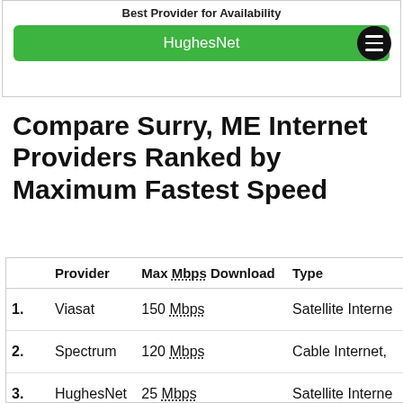Best Provider for Availability
HughesNet
Compare Surry, ME Internet Providers Ranked by Maximum Fastest Speed
|  | Provider | Max Mbps Download | Type |
| --- | --- | --- | --- |
| 1. | Viasat | 150 Mbps | Satellite Interne... |
| 2. | Spectrum | 120 Mbps | Cable Internet,... |
| 3. | HughesNet | 25 Mbps | Satellite Interne... |